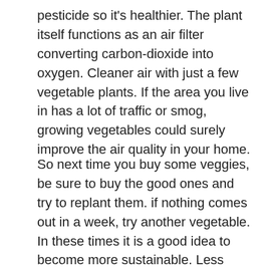pesticide so it's healthier. The plant itself functions as an air filter converting carbon-dioxide into oxygen. Cleaner air with just a few vegetable plants. If the area you live in has a lot of traffic or smog, growing vegetables could surely improve the air quality in your home.
So next time you buy some veggies, be sure to buy the good ones and try to replant them. if nothing comes out in a week, try another vegetable. In these times it is a good idea to become more sustainable. Less goes to waste, more comes out of the value! The first harvest will be delicious! I hope you will enjoy it.